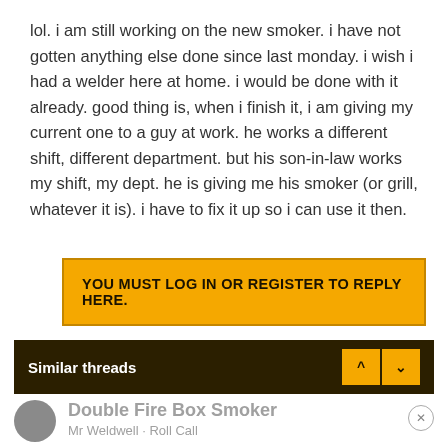lol. i am still working on the new smoker. i have not gotten anything else done since last monday. i wish i had a welder here at home. i would be done with it already. good thing is, when i finish it, i am giving my current one to a guy at work. he works a different shift, different department. but his son-in-law works my shift, my dept. he is giving me his smoker (or grill, whatever it is). i have to fix it up so i can use it then.
YOU MUST LOG IN OR REGISTER TO REPLY HERE.
Similar threads
Double Fire Box Smoker
Mr Weldwell · Roll Call